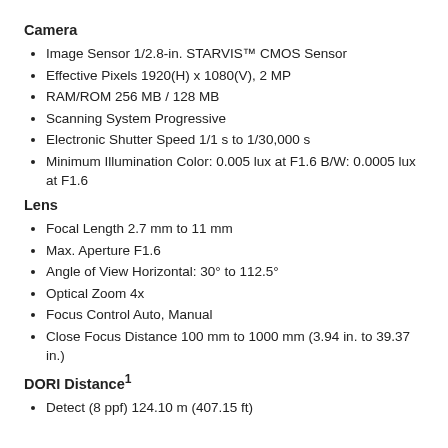Camera
Image Sensor 1/2.8-in. STARVIS™ CMOS Sensor
Effective Pixels 1920(H) x 1080(V), 2 MP
RAM/ROM 256 MB / 128 MB
Scanning System Progressive
Electronic Shutter Speed 1/1 s to 1/30,000 s
Minimum Illumination Color: 0.005 lux at F1.6 B/W: 0.0005 lux at F1.6
Lens
Focal Length 2.7 mm to 11 mm
Max. Aperture F1.6
Angle of View Horizontal: 30° to 112.5°
Optical Zoom 4x
Focus Control Auto, Manual
Close Focus Distance 100 mm to 1000 mm (3.94 in. to 39.37 in.)
DORI Distance¹
Detect (8 ppf) 124.10 m (407.15 ft)